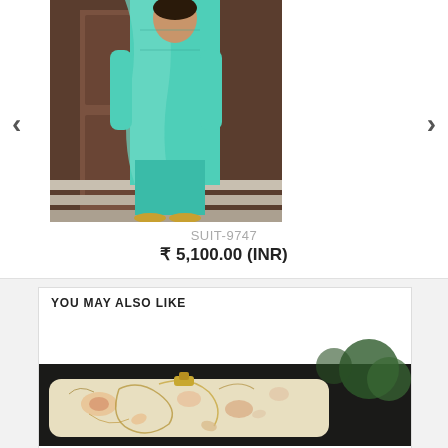[Figure (photo): Product photo of a woman wearing a teal/turquoise salwar suit with dupatta, standing on stairs in front of a wooden door]
SUIT-9747
₹ 5,100.00 (INR)
YOU MAY ALSO LIKE
[Figure (photo): Partially visible product image of a decorative floral embroidered clutch/purse with peach and gold design on cream background]